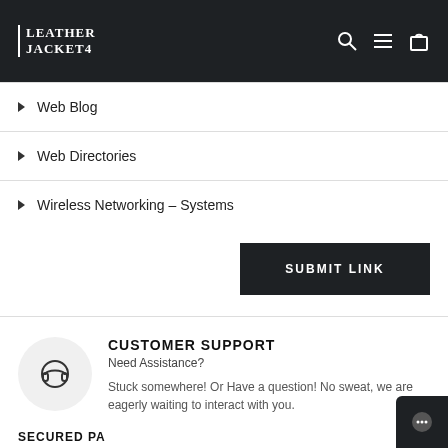LEATHER JACKET4
Web Blog
Web Directories
Wireless Networking – Systems
SUBMIT LINK
CUSTOMER SUPPORT
Need Assistance?
Stuck somewhere! Or Have a question! No sweat, we are eagerly waiting to interact with you.
SECURED PAYMENT